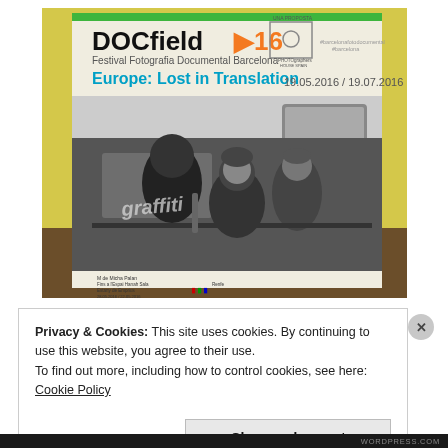[Figure (photo): A photograph taken inside a subway/metro station showing an advertisement poster for DOCfield 16 - Festival Fotografia Documental Barcelona. The poster reads 'Europe: Lost in Translation' with dates 19.05.2016 / 19.07.2016. The poster image shows two people (a child and an adult) sitting in a subway car, captured in black and white. The metro station walls are visible around the poster in yellow tiles.]
Privacy & Cookies: This site uses cookies. By continuing to use this website, you agree to their use.
To find out more, including how to control cookies, see here: Cookie Policy
Close and accept
WORDPRESS.COM